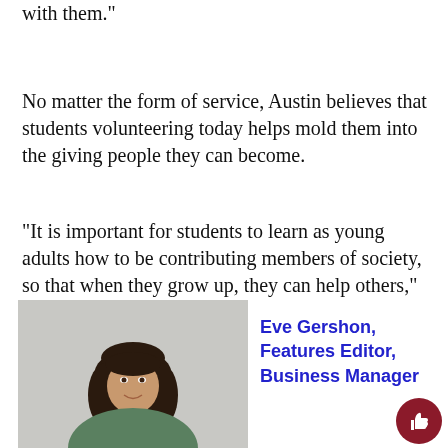with them.”
No matter the form of service, Austin believes that students volunteering today helps mold them into the giving people they can become.
“It is important for students to learn as young adults how to be contributing members of society, so that when they grow up, they can help others,” Austin said.
[Figure (photo): Headshot photo of Eve Gershon, a young woman with long dark curly hair, smiling, wearing a green t-shirt, against a white brick wall background.]
Eve Gershon, Features Editor, Business Manager